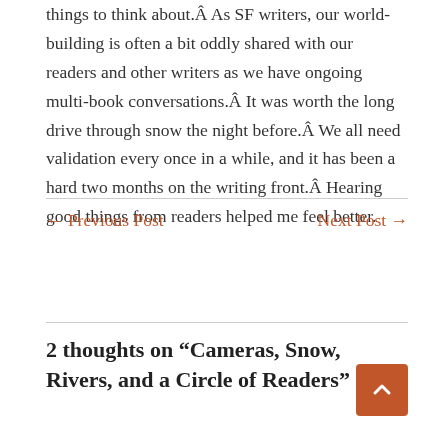things to think about.Â As SF writers, our world-building is often a bit oddly shared with our readers and other writers as we have ongoing multi-book conversations.Â  It was worth the long drive through snow the night before.Â  We all need validation every once in a while, and it has been a hard two months on the writing front.Â  Hearing good things from readers helped me feel better.
← Previous Post
Next Post →
2 thoughts on “Cameras, Snow, Rivers, and a Circle of Readers”